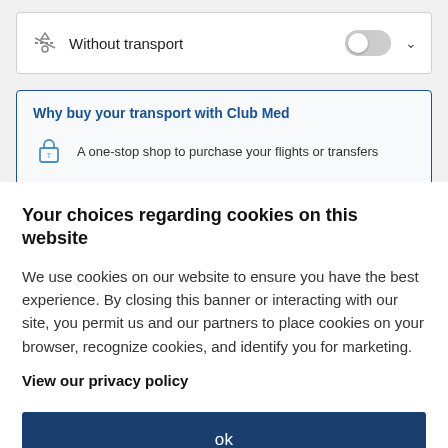Without transport
Why buy your transport with Club Med
A one-stop shop to purchase your flights or transfers
Safe meet & greet by the resort staff upon arrival
Your choices regarding cookies on this website
We use cookies on our website to ensure you have the best experience. By closing this banner or interacting with our site, you permit us and our partners to place cookies on your browser, recognize cookies, and identify you for marketing.
View our privacy policy
ok
Set cookie preferences >